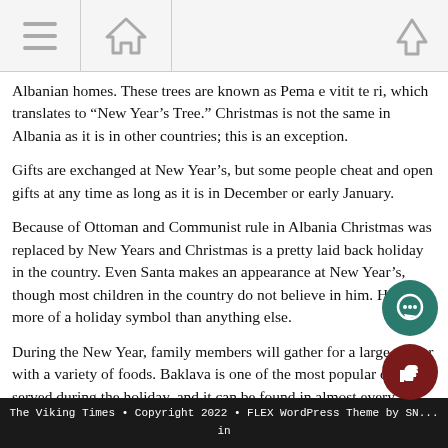[Navigation bar with hamburger menu, home icon, and up arrow]
Albanian homes. These trees are known as Pema e vitit te ri, which translates to “New Year’s Tree.” Christmas is not the same in Albania as it is in other countries; this is an exception.
Gifts are exchanged at New Year’s, but some people cheat and open gifts at any time as long as it is in December or early January.
Because of Ottoman and Communist rule in Albania Christmas was replaced by New Years and Christmas is a pretty laid back holiday in the country. Even Santa makes an appearance at New Year’s, though most children in the country do not believe in him. He’s more of a holiday symbol than anything else.
During the New Year, family members will gather for a large dinner with a variety of foods. Baklava is one of the most popular dishes served during the holiday, and it can be found in almost every Albanian home.
The e e e f the i t ti t diti d th ld
The Viking Times • Copyright 2022 • FLEX WordPress Theme by SN... in